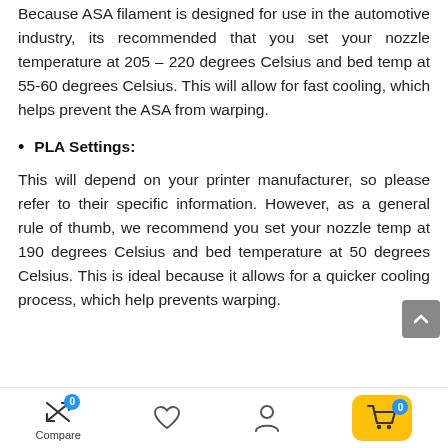Because ASA filament is designed for use in the automotive industry, its recommended that you set your nozzle temperature at 205 – 220 degrees Celsius and bed temp at 55-60 degrees Celsius. This will allow for fast cooling, which helps prevent the ASA from warping.
PLA Settings:
This will depend on your printer manufacturer, so please refer to their specific information. However, as a general rule of thumb, we recommend you set your nozzle temp at 190 degrees Celsius and bed temperature at 50 degrees Celsius. This is ideal because it allows for a quicker cooling process, which help prevents warping.
Compare | 0 | (heart icon) | (user icon) | cart 0